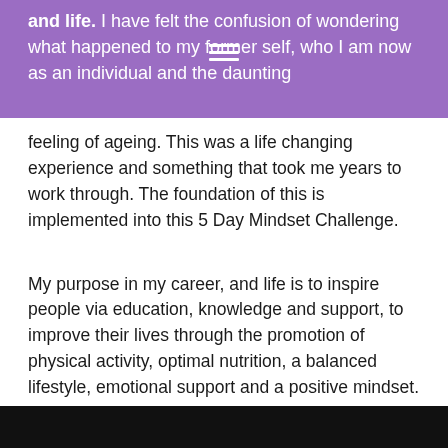and life. I have felt the confusion of wondering what happened to my former self, who I am now as an individual and the daunting feeling of ageing. This was a life changing experience and something that took me years to work through. The foundation of this is implemented into this 5 Day Mindset Challenge.
My purpose in my career, and life is to inspire people via education, knowledge and support, to improve their lives through the promotion of physical activity, optimal nutrition, a balanced lifestyle, emotional support and a positive mindset. I enjoy encouraging people to enhance their health and overall wellness, to assist in creating a happier and healthier society and to be the best they can be, without the need to feel pressure to fit into what society promotes as 'normal'.